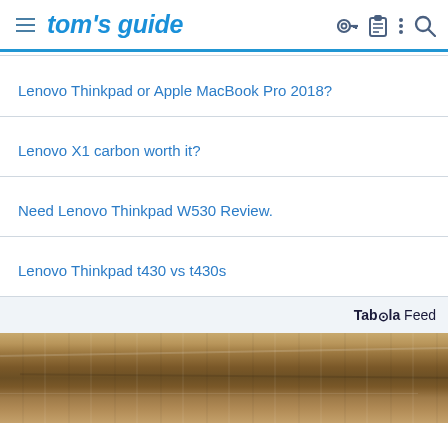tom's guide
Lenovo Thinkpad or Apple MacBook Pro 2018?
Lenovo X1 carbon worth it?
Need Lenovo Thinkpad W530 Review.
Lenovo Thinkpad t430 vs t430s
Taboola Feed
[Figure (photo): Wood texture / wooden surface photo, brown tones with grain patterns]